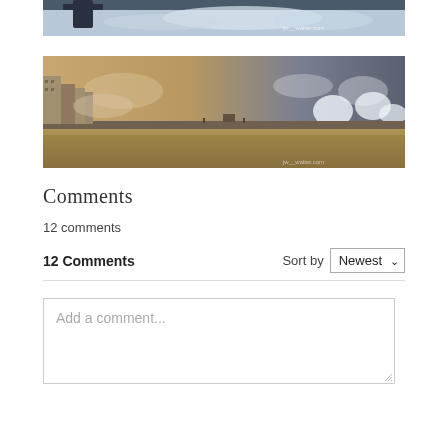[Figure (photo): Partial top image showing dark silhouette figure and ocean waves with white foam, cropped at top]
[Figure (photo): Wide panoramic photo of a coastal promenade with sepia/golden tones, buildings on left, rough ocean waves on right crashing against a seawall, stormy sky]
Comments
12 comments
12 Comments
Sort by Newest
Add a comment...